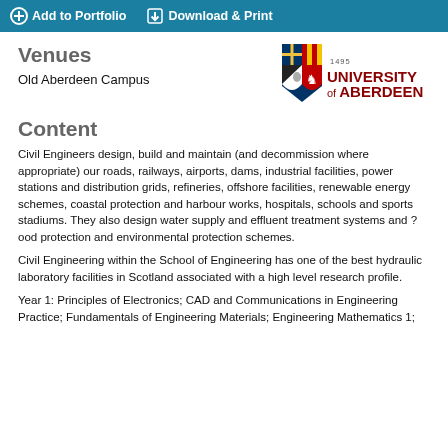Add to Portfolio   Download & Print
Venues
Old Aberdeen Campus
[Figure (logo): University of Aberdeen crest and wordmark logo]
Content
Civil Engineers design, build and maintain (and decommission where appropriate) our roads, railways, airports, dams, industrial facilities, power stations and distribution grids, refineries, offshore facilities, renewable energy schemes, coastal protection and harbour works, hospitals, schools and sports stadiums. They also design water supply and effluent treatment systems and ?ood protection and environmental protection schemes.
Civil Engineering within the School of Engineering has one of the best hydraulic laboratory facilities in Scotland associated with a high level research profile.
Year 1: Principles of Electronics; CAD and Communications in Engineering Practice; Fundamentals of Engineering Materials; Engineering Mathematics 1;